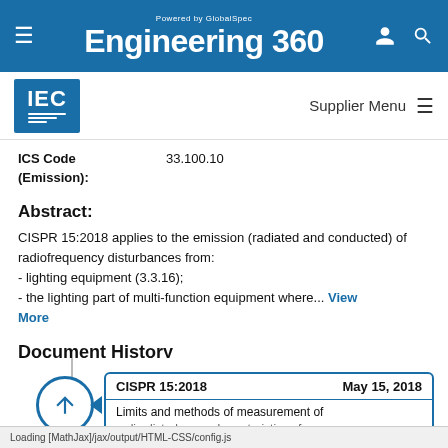Engineering 360 — Powered by GlobalSpec
ICS Code (Emission): 33.100.10
Abstract:
CISPR 15:2018 applies to the emission (radiated and conducted) of radiofrequency disturbances from:
- lighting equipment (3.3.16);
- the lighting part of multi-function equipment where... View More
Document History
CISPR 15:2018   May 15, 2018
Limits and methods of measurement of radio disturbance characteristics of
Loading [MathJax]/jax/output/HTML-CSS/config.js